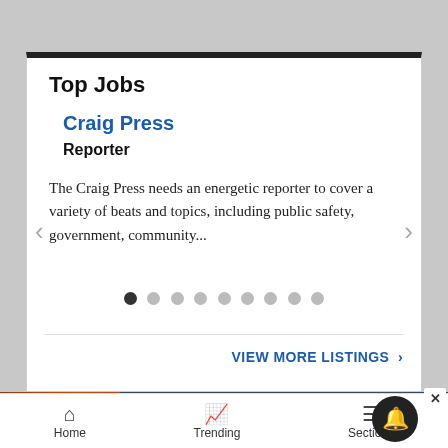Top Jobs
Craig Press
Reporter
The Craig Press needs an energetic reporter to cover a variety of beats and topics, including public safety, government, community...
VIEW MORE LISTINGS ›
[Figure (screenshot): Seamless food delivery advertisement banner with pizza image, red Seamless logo, and ORDER NOW button]
Home   Trending   Sections